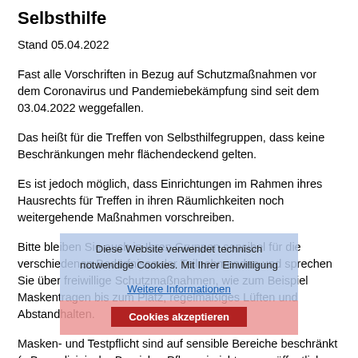Selbsthilfe
Stand 05.04.2022
Fast alle Vorschriften in Bezug auf Schutzmaßnahmen vor dem Coronavirus und Pandemiebekämpfung sind seit dem 03.04.2022 weggefallen.
Das heißt für die Treffen von Selbsthilfegruppen, dass keine Beschränkungen mehr flächendeckend gelten.
Es ist jedoch möglich, dass Einrichtungen im Rahmen ihres Hausrechts für Treffen in ihren Räumlichkeiten noch weitergehende Maßnahmen vorschreiben.
Bitte bleiben Sie auch in Ihren Gruppen sensibel für die verschiedenen Bedürfnisse der Teilnehmenden und sprechen Sie über freiwillige Schutzmaßnahmen, wie zum Beispiel Maskentragen bis zum Platz, regelmäßiges Lüften und Abstandhalten.
Masken- und Testpflicht sind auf sensible Bereiche beschränkt (z.B. medizinische Bereiche, Pflegeeinrichtungen, öffentliche
Diese Website verwendet technisch
Weitere Informationen
Cookies akzeptieren